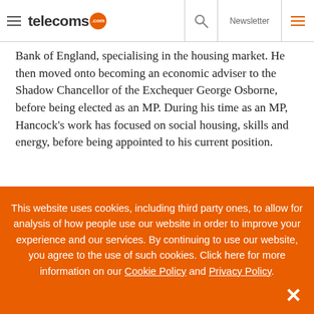telecoms.com | Newsletter
Bank of England, specialising in the housing market. He then moved onto becoming an economic adviser to the Shadow Chancellor of the Exchequer George Osborne, before being elected as an MP. During his time as an MP, Hancock's work has focused on social housing, skills and energy, before being appointed to his current position.
Again, it would be unfair to blame Hancock for his rise to his
This website uses cookies, including third party ones, to allow for analysis of how people use our website in order to improve your experience and our services. By continuing to use our website, you agree to the use of such cookies. Click here for more information on our Cookie Policy and Privacy Policy.